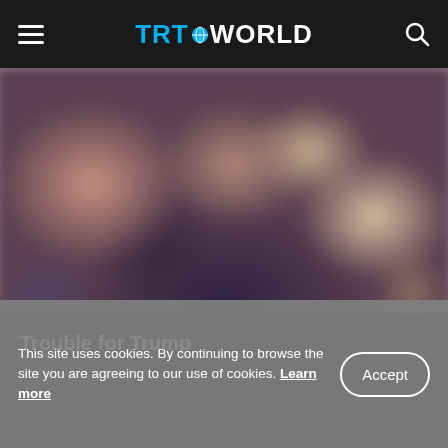TRT WORLD
[Figure (photo): Blurred photograph of people, appears to be a news story image. Dark overlay at bottom with title overlay.]
Trouble for Trump
This site uses cookies. By continuing to browse the site you are agreeing to our use of cookies. Learn more
Accept